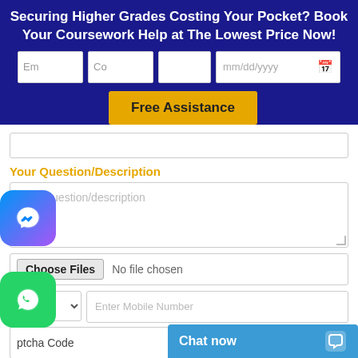Securing Higher Grades Costing Your Pocket? Book Your Coursework Help at The Lowest Price Now!
Er | Co | [blank] | mm/dd/yyyy [calendar]
Free Assistance
[search bar]
Your Question/Description
Write question/description
Choose Files   No file chosen
[country code dropdown]   Enter Mobile Number
ptcha Code   64259 [refresh]
Chat now